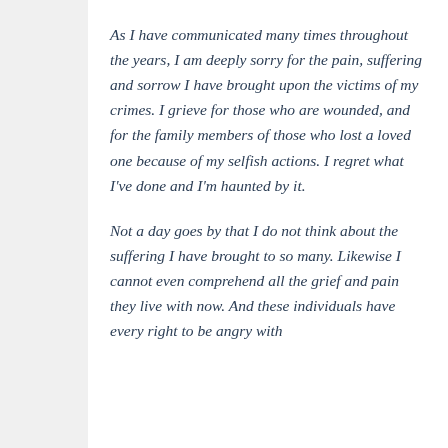As I have communicated many times throughout the years, I am deeply sorry for the pain, suffering and sorrow I have brought upon the victims of my crimes. I grieve for those who are wounded, and for the family members of those who lost a loved one because of my selfish actions. I regret what I've done and I'm haunted by it.
Not a day goes by that I do not think about the suffering I have brought to so many. Likewise I cannot even comprehend all the grief and pain they live with now. And these individuals have every right to be angry with